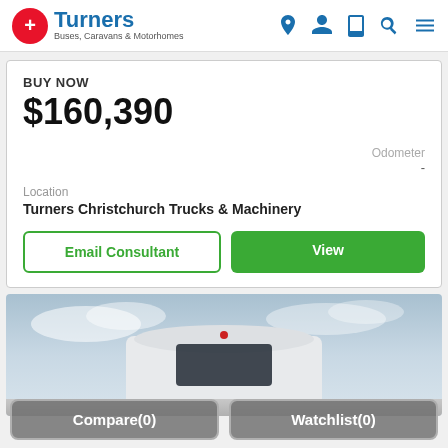[Figure (logo): Turners Buses, Caravans & Motorhomes logo with red circle T icon and blue Turners text]
BUY NOW
$160,390
Odometer
-
Location
Turners Christchurch Trucks & Machinery
Email Consultant
View
[Figure (photo): Front of a white motorhome/bus against a cloudy sky]
Compare(0)
Watchlist(0)